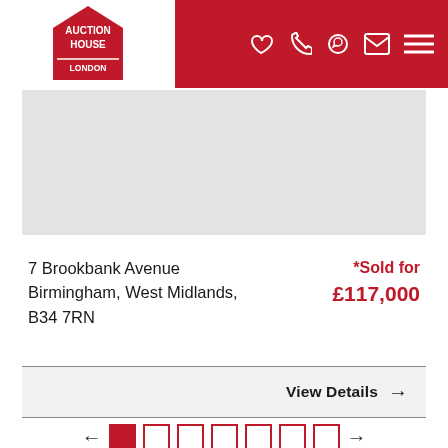[Figure (logo): Auction House London logo — red house-shaped pentagon with white text AUCTION HOUSE LONDON]
[Figure (screenshot): Navigation bar with heart, phone, WhatsApp, email icons and hamburger menu on red background]
[Figure (photo): Grey placeholder image area for property photo]
7 Brookbank Avenue
Birmingham, West Midlands,
B34 7RN
*Sold for £117,000
View Details →
[Figure (infographic): Pagination control with left arrow, 7 boxes (first filled red, rest empty), right arrow]